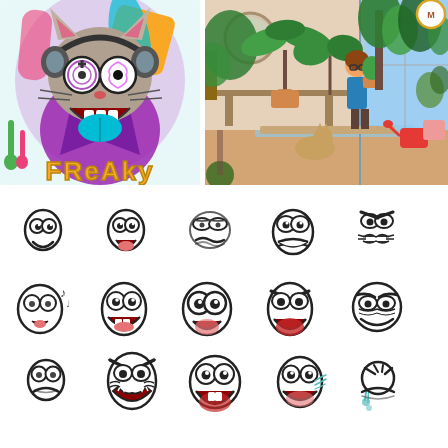[Figure (illustration): Colorful cartoon illustration of a freaky cat character wearing sunglasses and headphones with psychedelic swirl eyes, open mouth with tongue, wearing a purple jacket with a colorful background. Text below reads 'FREAKY' in yellow graffiti-style letters.]
[Figure (illustration): Flat design illustration of a young woman with glasses watering plants in a cozy room filled with many indoor plants in pots. A cat sits on the floor nearby. Warm, earthy color palette.]
[Figure (illustration): Collection of 15 cartoon face expressions arranged in a 5x3 grid on white background. Each face shows eyes and mouth with different emotions including happy, surprised, angry, sleepy, confused, singing, frightened, and crying. Black outline style with some pink/red accents on mouths.]